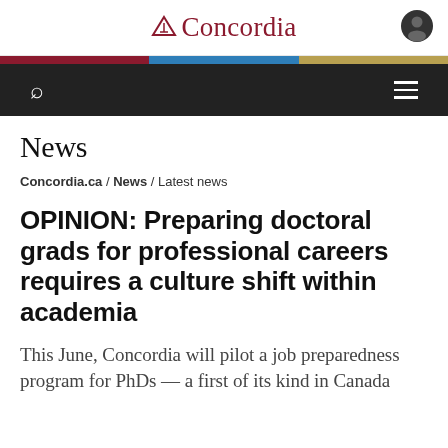Concordia
News
Concordia.ca / News / Latest news
OPINION: Preparing doctoral grads for professional careers requires a culture shift within academia
This June, Concordia will pilot a job preparedness program for PhDs — a first of its kind in Canada